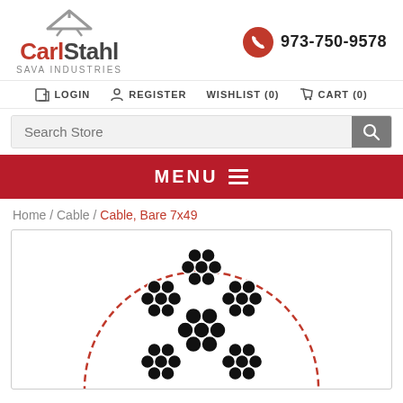[Figure (logo): Carl Stahl Sava Industries logo with roof/hanger icon above text]
973-750-9578
LOGIN   REGISTER   WISHLIST (0)   CART (0)
Search Store
MENU
Home / Cable / Cable, Bare 7x49
[Figure (engineering-diagram): Cross-section view of a 7x49 bare wire cable showing bundled wire strands in a circular arrangement with a red dashed circle border]